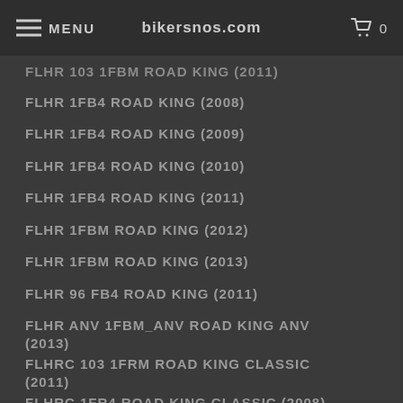MENU bikersnos.com 0
FLHR 103 1FBM ROAD KING (2011)
FLHR 1FB4 ROAD KING (2008)
FLHR 1FB4 ROAD KING (2009)
FLHR 1FB4 ROAD KING (2010)
FLHR 1FB4 ROAD KING (2011)
FLHR 1FBM ROAD KING (2012)
FLHR 1FBM ROAD KING (2013)
FLHR 96 FB4 ROAD KING (2011)
FLHR ANV 1FBM_ANV ROAD KING ANV (2013)
FLHRC 103 1FRM ROAD KING CLASSIC (2011)
FLHRC 1FR4 ROAD KING CLASSIC (2008)
FLHRC 1FR4 ROAD KING CLASSIC (2009)
FLHRC 1FR4 ROAD KING CLASSIC (2010)
FLHRC 1FR4 ROAD KING CLASSIC (2011)
FLHRC 1FRM ROAD KING CLASSIC (2012)